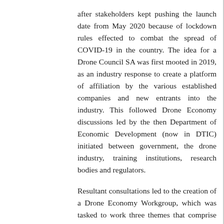after stakeholders kept pushing the launch date from May 2020 because of lockdown rules effected to combat the spread of COVID-19 in the country. The idea for a Drone Council SA was first mooted in 2019, as an industry response to create a platform of affiliation by the various established companies and new entrants into the industry. This followed Drone Economy discussions led by the then Department of Economic Development (now in DTIC) initiated between government, the drone industry, training institutions, research bodies and regulators.
Resultant consultations led to the creation of a Drone Economy Workgroup, which was tasked to work three themes that comprise Drone Industry SMME Incubation and Licensing, Drone Industry Development and Drone